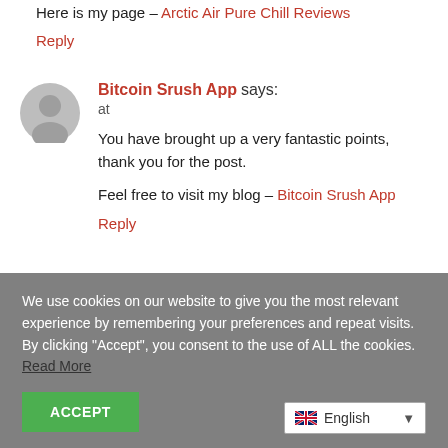Here is my page – Arctic Air Pure Chill Reviews
Reply
Bitcoin Srush App says:
at
You have brought up a very fantastic points, thank you for the post.
Feel free to visit my blog – Bitcoin Srush App
Reply
We use cookies on our website to give you the most relevant experience by remembering your preferences and repeat visits. By clicking "Accept", you consent to the use of ALL the cookies. Read More
ACCEPT
English